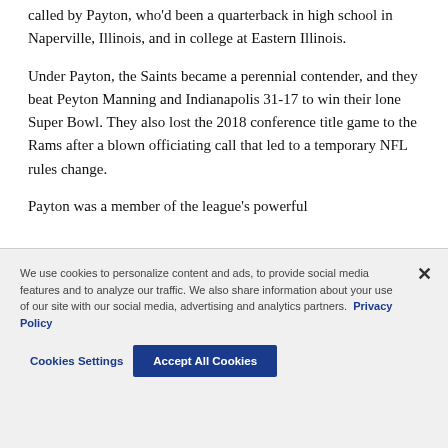called by Payton, who'd been a quarterback in high school in Naperville, Illinois, and in college at Eastern Illinois.
Under Payton, the Saints became a perennial contender, and they beat Peyton Manning and Indianapolis 31-17 to win their lone Super Bowl. They also lost the 2018 conference title game to the Rams after a blown officiating call that led to a temporary NFL rules change.
Payton was a member of the league's powerful
We use cookies to personalize content and ads, to provide social media features and to analyze our traffic. We also share information about your use of our site with our social media, advertising and analytics partners. Privacy Policy
Cookies Settings | Accept All Cookies